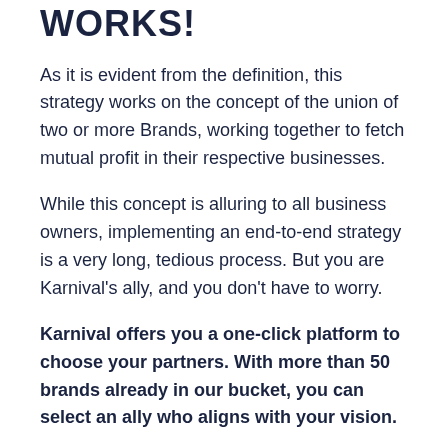WORKS!
As it is evident from the definition, this strategy works on the concept of the union of two or more Brands, working together to fetch mutual profit in their respective businesses.
While this concept is alluring to all business owners, implementing an end-to-end strategy is a very long, tedious process. But you are Karnival's ally, and you don't have to worry.
Karnival offers you a one-click platform to choose your partners. With more than 50 brands already in our bucket, you can select an ally who aligns with your vision.
Before you make a choice, focus on these 3 R's